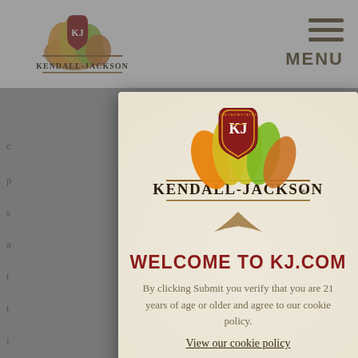[Figure (logo): Kendall-Jackson wine brand logo with colorful leaf motif and shield emblem in top navigation bar]
MENU
e will in its urrier aging very entry. ders es of or erest. iod
[Figure (logo): Kendall-Jackson Vineyard Estates logo with colorful autumn leaves and KJ shield emblem inside modal dialog]
WELCOME TO KJ.COM
By clicking Submit you verify that you are 21 years of age or older and agree to our cookie policy.
View our cookie policy
SUBMIT